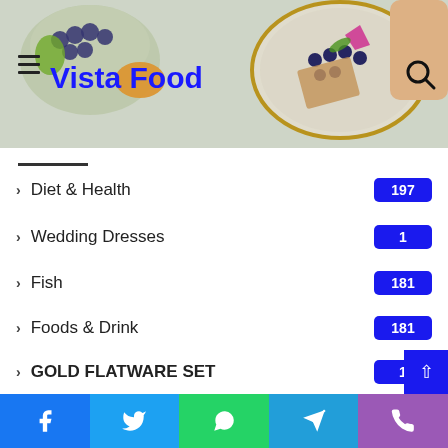[Figure (photo): Website header banner showing food photography with fruits, blueberries, and a plate with food items. Site logo 'Vista Food' in blue text overlaid on the image with hamburger menu icon and search icon.]
Diet & Health  197
Wedding Dresses  1
Fish  181
Foods & Drink  181
GOLD FLATWARE SET  1
Desserts  159
Entertainment  4
Food & Vegetables  154
Recipes
Facebook  Twitter  WhatsApp  Telegram  Phone